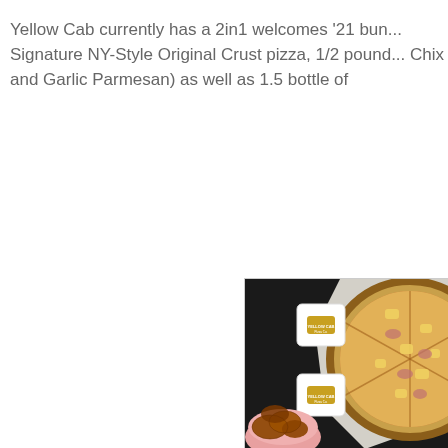Yellow Cab currently has a 2in1 welcomes '21 bun... Signature NY-Style Original Crust pizza, 1/2 pound... Chix and Garlic Parmesan) as well as 1.5 bottle of
[Figure (photo): Overhead photo on dark background showing a New York-style pizza with pineapple and ham toppings on white parchment, two Yellow Cab branded condiment packets, and a pink bowl of fried chicken wings]